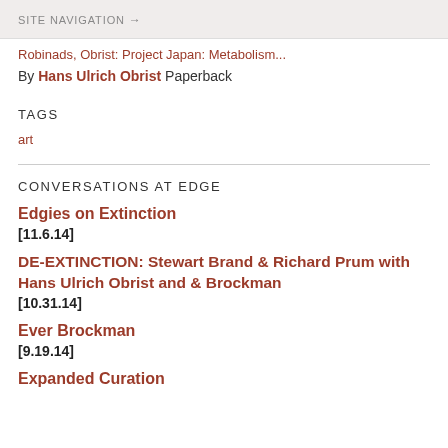SITE NAVIGATION →
Robinads, Obrist: Project Japan: Metabolism...
By Hans Ulrich Obrist Paperback
TAGS
art
CONVERSATIONS AT EDGE
Edgies on Extinction [11.6.14]
DE-EXTINCTION: Stewart Brand & Richard Prum with Hans Ulrich Obrist and & Brockman [10.31.14]
Ever Brockman [9.19.14]
Expanded Curation